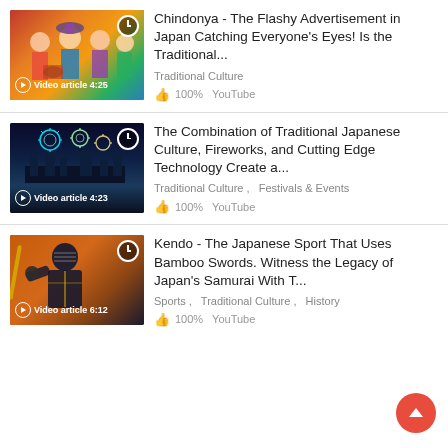[Figure (screenshot): Video thumbnail showing traditionally dressed Japanese performers in colorful kimono with drums, labeled 'Video article 4:25']
Chindonya - The Flashy Advertisement in Japan Catching Everyone's Eyes! Is the Traditional...
Traditional Culture
100%  YouTube
[Figure (screenshot): Video thumbnail showing fireworks over a city skyline at night, labeled 'Video article 4:23']
The Combination of Traditional Japanese Culture, Fireworks, and Cutting Edge Technology Create a...
Traditional Culture ,   Festivals & Events
100%  YouTube
[Figure (screenshot): Video thumbnail showing a kendo practitioner in black armor on an orange background, labeled 'Video article 6:12']
Kendo - The Japanese Sport That Uses Bamboo Swords. Witness the Legacy of Japan's Samurai With T...
Sports ,   Traditional Culture ,   History
100%  YouTube